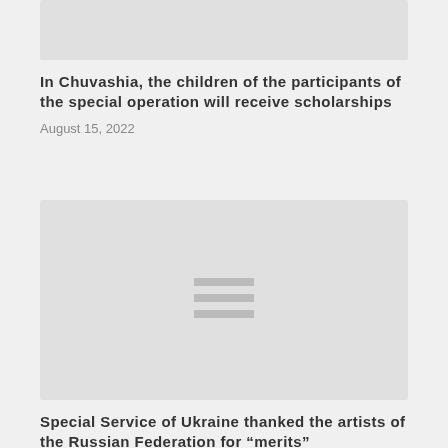[Figure (photo): Top image placeholder (partially visible, clipped at top)]
In Chuvashia, the children of the participants of the special operation will receive scholarships
August 15, 2022
[Figure (photo): Image placeholder with hamburger/list icon in center]
Special Service of Ukraine thanked the artists of the Russian Federation for “merits”